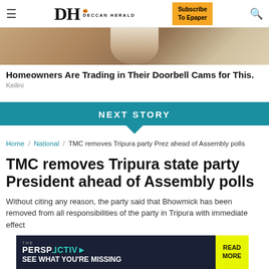DH DECCAN HERALD | Subscribe To Epaper
[Figure (photo): Partial view of a person near a stone/brick wall, appears to be a doorbell camera advertisement image]
Homeowners Are Trading in Their Doorbell Cams for This.
Keilini
NEXT STORY
Home / National / TMC removes Tripura party Prez ahead of Assembly polls
TMC removes Tripura state party President ahead of Assembly polls
Without citing any reason, the party said that Bhowmick has been removed from all responsibilities of the party in Tripura with immediate effect
[Figure (advertisement): THE PERSPECTIVE advertisement banner with dark navy background, teal graphic elements, text 'SEE WHAT YOU'RE MISSING' and yellow 'READ MORE' button]